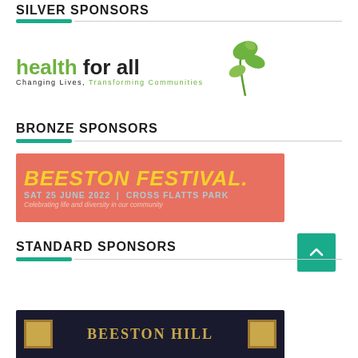SILVER SPONSORS
[Figure (logo): Health for All logo with green leaf plant illustration. Text reads: 'health for all' with 'health' in green and 'for all' in dark, and subtitle 'Changing Lives, Transforming Communities']
BRONZE SPONSORS
[Figure (illustration): Beeston Festival banner on coral/red background. Yellow text 'BEESTON FESTIVAL.' in large italic bold font. Below: 'SAT 25 JUNE 2022 | CROSS FLATTS PARK' in light blue. Below: 'Celebrating life and diversity in our community' in italic pink text.]
STANDARD SPONSORS
[Figure (logo): Beeston Hill logo partially visible at bottom, dark background with gold serif lettering and gold square ornaments on either side.]